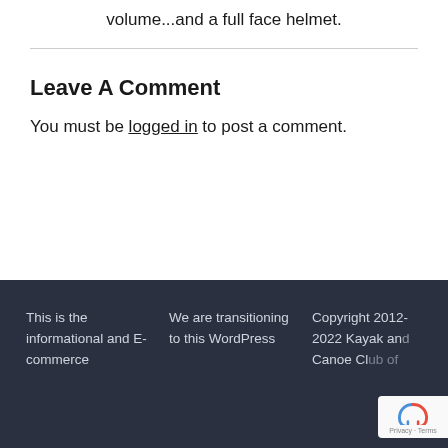volume...and a full face helmet.
Leave A Comment
You must be logged in to post a comment.
This is the informational and E-commerce
We are transitioning to this WordPress
Copyright 2012-2022 Kayak and Canoe Club of...